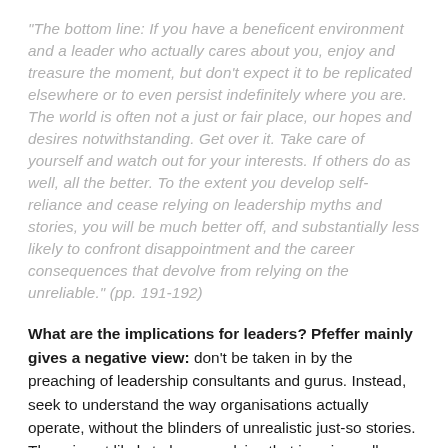"The bottom line: If you have a beneficent environment and a leader who actually cares about you, enjoy and treasure the moment, but don't expect it to be replicated elsewhere or to even persist indefinitely where you are. The world is often not a just or fair place, our hopes and desires notwithstanding. Get over it. Take care of yourself and watch out for your interests. If others do as well, all the better. To the extent you develop self-reliance and cease relying on leadership myths and stories, you will be much better off, and substantially less likely to confront disappointment and the career consequences that devolve from relying on the unreliable." (pp. 191-192)
What are the implications for leaders? Pfeffer mainly gives a negative view: don't be taken in by the preaching of leadership consultants and gurus. Instead, seek to understand the way organisations actually operate, without the blinders of unrealistic just-so stories. There is not likely to be any advice that is universally applicable. What to do depends on the